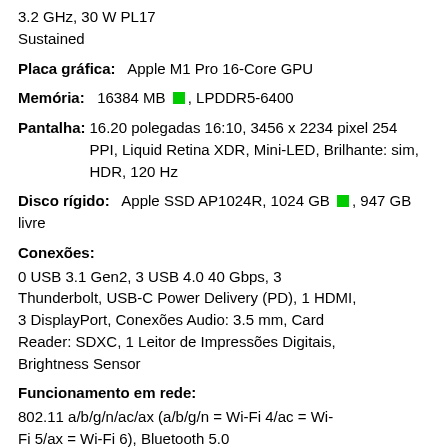3.2 GHz, 30 W PL17 Sustained
Placa gráfica: Apple M1 Pro 16-Core GPU
Memória: 16384 MB [green], LPDDR5-6400
Pantalha: 16.20 polegadas 16:10, 3456 x 2234 pixel 254 PPI, Liquid Retina XDR, Mini-LED, Brilhante: sim, HDR, 120 Hz
Disco rígido: Apple SSD AP1024R, 1024 GB [green], 947 GB livre
Conexões:
0 USB 3.1 Gen2, 3 USB 4.0 40 Gbps, 3 Thunderbolt, USB-C Power Delivery (PD), 1 HDMI, 3 DisplayPort, Conexões Audio: 3.5 mm, Card Reader: SDXC, 1 Leitor de Impressões Digitais, Brightness Sensor
Funcionamento em rede:
802.11 a/b/g/n/ac/ax (a/b/g/n = Wi-Fi 4/ac = Wi-Fi 5/ax = Wi-Fi 6), Bluetooth 5.0
Tamanho: altura x largura x profundidade (em mm): 16.8 x